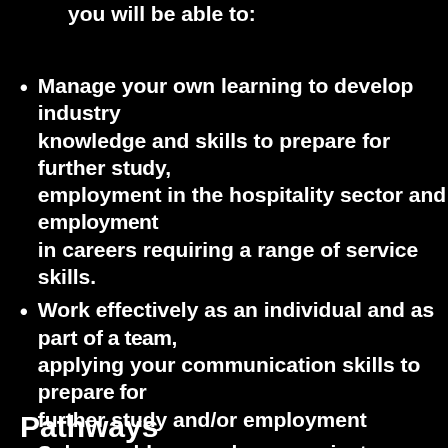you will be able to:
Manage your own learning to develop industry knowledge and skills to prepare for further study, employment in the hospitality sector and employment in careers requiring a range of service skills.
Work effectively as an individual and as part of a team, applying your communication skills to prepare for further study and/or employment
Solve problems and communicate clearly using a range of appropriate media.
Evaluate opportunities and develop plans for career pathways relevant to your chosen field.
Pathways